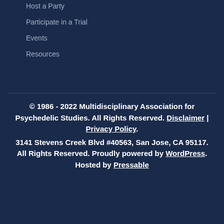Host a Party
Participate in a Trial
Events
Resources
© 1986 - 2022 Multidisciplinary Association for Psychedelic Studies. All Rights Reserved. Disclaimer | Privacy Policy. 3141 Stevens Creek Blvd #40563, San Jose, CA 95117. All Rights Reserved. Proudly powered by WordPress. Hosted by Pressable